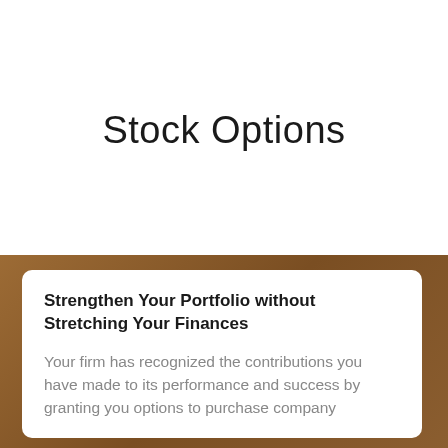Stock Options
Strengthen Your Portfolio without Stretching Your Finances
Your firm has recognized the contributions you have made to its performance and success by granting you options to purchase company